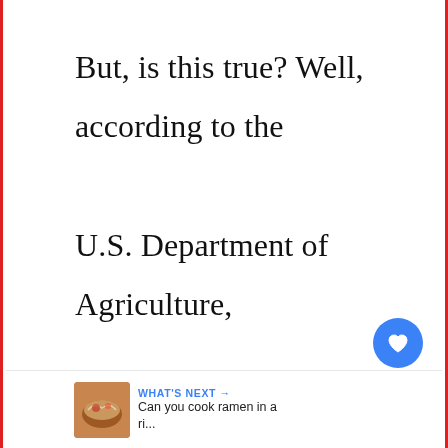But, is this true? Well, according to the U.S. Department of Agriculture, consuming undercooked beef can lead to serious health problems. In fact, it can even be fatal. According to the USDA, "Undercooked beef co...